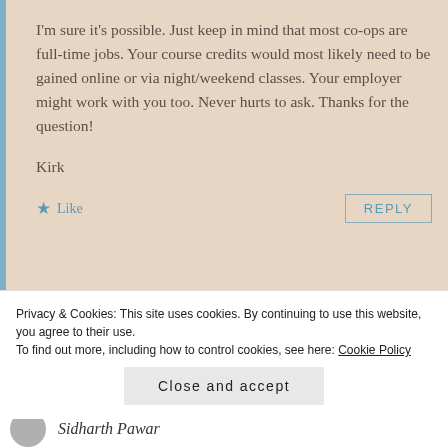I'm sure it's possible. Just keep in mind that most co-ops are full-time jobs. Your course credits would most likely need to be gained online or via night/weekend classes. Your employer might work with you too. Never hurts to ask. Thanks for the question!
Kirk
Like
REPLY
Privacy & Cookies: This site uses cookies. By continuing to use this website, you agree to their use.
To find out more, including how to control cookies, see here: Cookie Policy
Close and accept
Sidharth Pawar